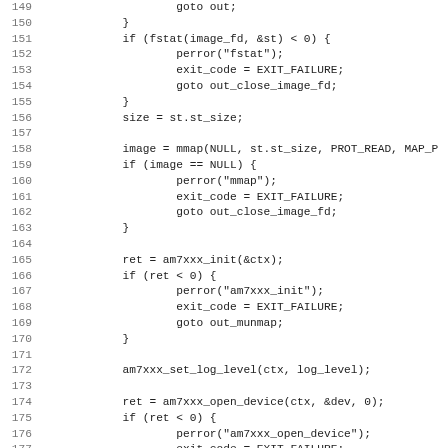Source code listing, lines 149-181, C language code showing file handling with fstat, mmap, am7xxx_init, am7xxx_set_log_level, and am7xxx_open_device function calls with error handling via goto statements.